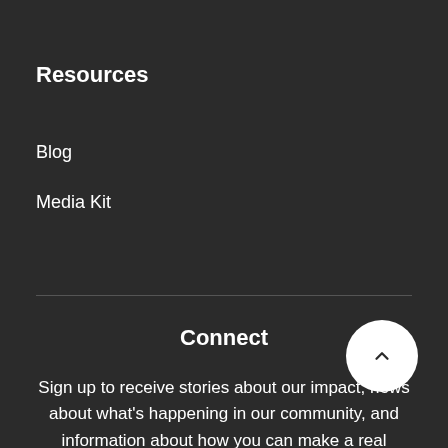Resources
Blog
Media Kit
Connect
Sign up to receive stories about our impact, news about what's happening in our community, and information about how you can make a real